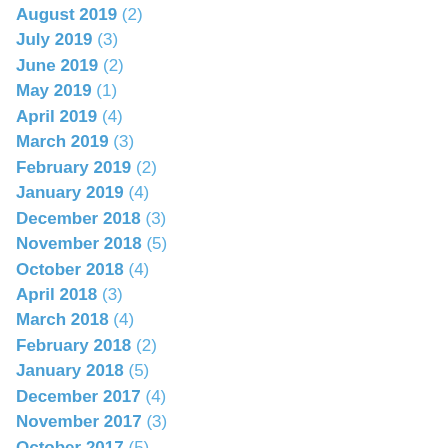August 2019 (2)
July 2019 (3)
June 2019 (2)
May 2019 (1)
April 2019 (4)
March 2019 (3)
February 2019 (2)
January 2019 (4)
December 2018 (3)
November 2018 (5)
October 2018 (4)
April 2018 (3)
March 2018 (4)
February 2018 (2)
January 2018 (5)
December 2017 (4)
November 2017 (3)
October 2017 (5)
September 2017 (3)
August 2017 (4)